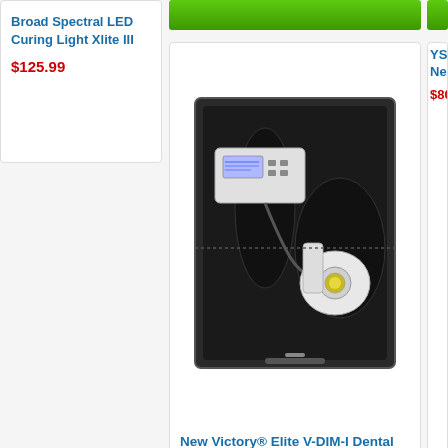Broad Spectral LED Curing Light Xlite III
$125.99
[Figure (photo): Dental implant motor kit in a black carrying case, including handpiece and control unit]
New Victory® Elite V-DIM-I Dental Implant Motor
0 views
$1730.99
Add to cart
YS Ne... Denta...
$802...